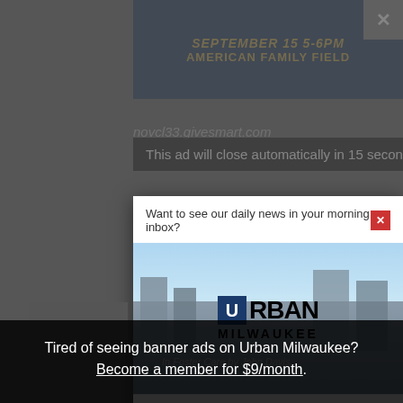[Figure (screenshot): Top banner ad for an event: SEPTEMBER 15 5-6PM AMERICAN FAMILY FIELD in dark blue background with gold text, with a close X button in top right]
This ad will close automatically in 15 seconds.
[Figure (screenshot): Newsletter subscription modal popup over Urban Milwaukee website. Contains: header 'Want to see our daily news in your morning inbox?', red X close button, Urban Milwaukee logo over a city skyline photo, and 'Click here to subscribe today!' CTA.]
Tired of seeing banner ads on Urban Milwaukee? Become a member for $9/month.